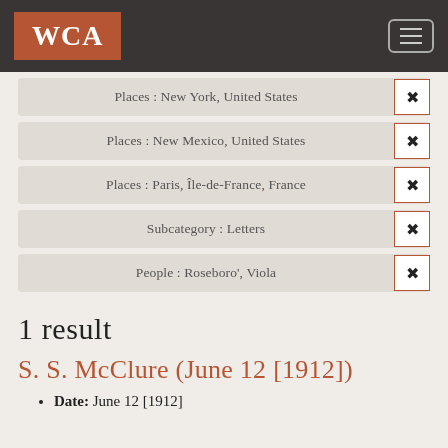WCA
Places : New York, United States
Places : New Mexico, United States
Places : Paris, Île-de-France, France
Subcategory : Letters
People : Roseboro', Viola
1 result
S. S. McClure (June 12 [1912])
Date: June 12 [1912]